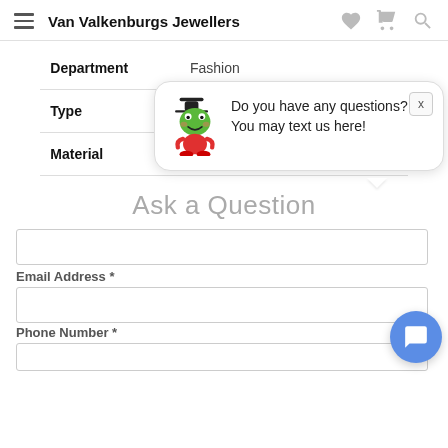Van Valkenburgs Jewellers
| Attribute | Value |
| --- | --- |
| Department | Fashion |
| Type | Earrings |
| Material | Stainless Steel |
Ask a Question
Do you have any questions? You may text us here!
Email Address *
Phone Number *